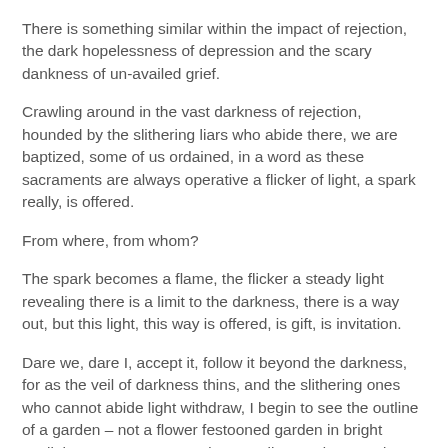There is something similar within the impact of rejection, the dark hopelessness of depression and the scary dankness of un-availed grief.
Crawling around in the vast darkness of rejection, hounded by the slithering liars who abide there, we are baptized, some of us ordained, in a word as these sacraments are always operative a flicker of light, a spark really, is offered.
From where, from whom?
The spark becomes a flame, the flicker a steady light revealing there is a limit to the darkness, there is a way out, but this light, this way is offered, is gift, is invitation.
Dare we, dare I, accept it, follow it beyond the darkness, for as the veil of darkness thins, and the slithering ones who cannot abide light withdraw, I begin to see the outline of a garden – not a flower festooned garden in bright sunlight, more a grove-garden, an olive garden – and even with the full moon, it is still night in this garden!